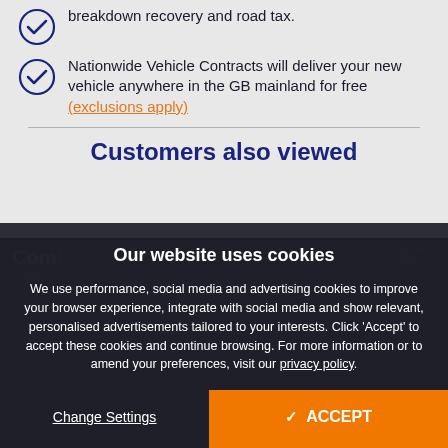breakdown recovery and road tax.
Nationwide Vehicle Contracts will deliver your new vehicle anywhere in the GB mainland for free (exclusions apply)
Customers also viewed
Our website uses cookies
We use performance, social media and advertising cookies to improve your browser experience, integrate with social media and show relevant, personalised advertisements tailored to your interests. Click 'Accept' to accept these cookies and continue browsing. For more information or to amend your preferences, visit our privacy policy.
Change Settings
✓ ACCEPT